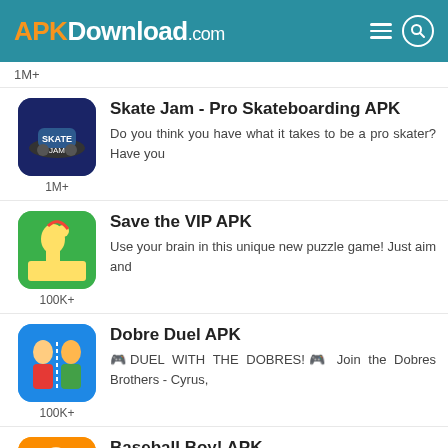APKDownload.com
1M+
Skate Jam - Pro Skateboarding APK
Do you think you have what it takes to be a pro skater? Have you
1M+
Save the VIP APK
Use your brain in this unique new puzzle game! Just aim and
100K+
Dobre Duel APK
🎮DUEL WITH THE DOBRES!🎮 Join the Dobres Brothers - Cyrus,
100K+
Baseball Boy! APK
Hit hard or go home!Hit your baseball as hard as possible and
10M+
Pocket Rush APK
* Featured in 122 countries and the #1 Racing game in 67
100K+